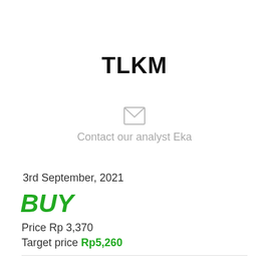TLKM
[Figure (illustration): Email envelope icon in light gray]
Contact our analyst Eka
3rd September, 2021
BUY
Price Rp 3,370
Target price Rp5,260